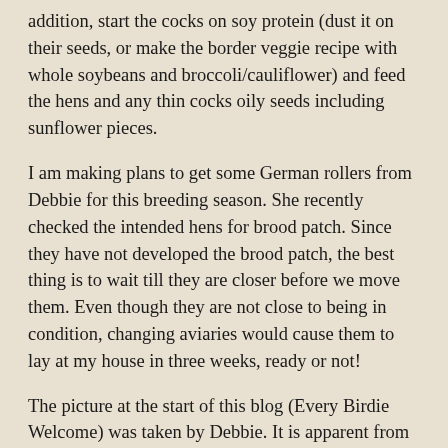addition, start the cocks on soy protein (dust it on their seeds, or make the border veggie recipe with whole soybeans and broccoli/cauliflower) and feed the hens and any thin cocks oily seeds including sunflower pieces.
I am making plans to get some German rollers from Debbie for this breeding season. She recently checked the intended hens for brood patch. Since they have not developed the brood patch, the best thing is to wait till they are closer before we move them. Even though they are not close to being in condition, changing aviaries would cause them to lay at my house in three weeks, ready or not!
The picture at the start of this blog (Every Birdie Welcome) was taken by Debbie. It is apparent from the hen's photo that she currently has lots of abdominal feathers, no bareness, and no redness which all confirm that she is not coming into breeding condition yet. As anxious I am, I must practice delayed gratification and wait for the hens to start showing signs of moving forward toward breeding condition before they are transported to Kansas. It is not difficult to bring a cock into full breeding condition during that three